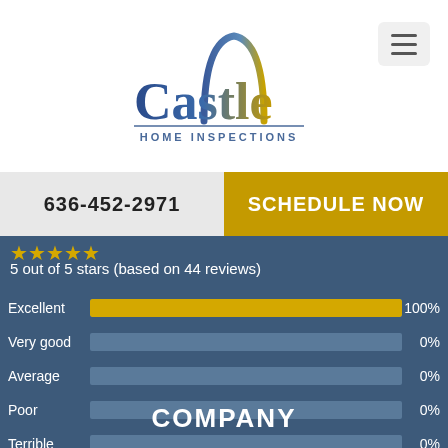[Figure (logo): Castle Home Inspections logo with arch/gateway shape above the text]
636-452-2971
SCHEDULE NOW
5 out of 5 stars (based on 44 reviews)
[Figure (bar-chart): Review distribution]
COMPANY